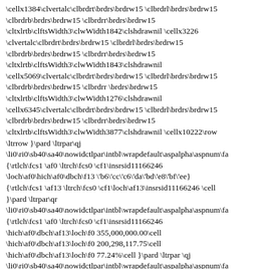\cellx1384\clvertalc\clbrdrt\brdrs\brdrw15 \clbrdrl\brdrs\brdrw15 \clbrdrb\brdrs\brdrw15 \clbrdrr\brdrs\brdrw15 \cltxlrtb\clftsWidth3\clwWidth1842\clshdrawnil \cellx3226 \clvertalc\clbrdrt\brdrs\brdrw15 \clbrdrl\brdrs\brdrw15 \clbrdrb\brdrs\brdrw15 \clbrdrr\brdrs\brdrw15 \cltxlrtb\clftsWidth3\clwWidth1843\clshdrawnil \cellx5069\clvertalc\clbrdrt\brdrs\brdrw15 \clbrdrl\brdrs\brdrw15 \clbrdrb\brdrs\brdrw15 \clbrdrr \brdrs\brdrw15 \cltxlrtb\clftsWidth3\clwWidth1276\clshdrawnil \cellx6345\clvertalc\clbrdrt\brdrs\brdrw15 \clbrdrl\brdrs\brdrw15 \clbrdrb\brdrs\brdrw15 \clbrdrr\brdrs\brdrw15 \cltxlrtb\clftsWidth3\clwWidth3877\clshdrawnil \cellx10222\row \ltrrow }\pard \ltrpar\qj \li0\ri0\sb40\sa40\nowidctlpar\intbl\wrapdefault\aspalpha\aspnum\fa {\ rtlch\fcs1 \af0 \ltrch\fcs0 \cf1\insrsid11166246 \loch\af0\hich\af0\dbch\f13 \'b6\'cc\'c6\'da\'bd\'e8\'bf\'ee} {\rtlch\fcs1 \af13 \ltrch\fcs0 \cf1\loch\af13\insrsid11166246 \cell }\pard \ltrpar\qr \li0\ri0\sb40\sa40\nowidctlpar\intbl\wrapdefault\aspalpha\aspnum\fa {\rtlch\fcs1 \af0 \ltrch\fcs0 \cf1\insrsid11166246 \hich\af0\dbch\af13\loch\f0 355,000,000.00\cell \hich\af0\dbch\af13\loch\f0 200,298,117.75\cell \hich\af0\dbch\af13\loch\f0 77.24%\cell }\pard \ltrpar \qj \li0\ri0\sb40\sa40\nowidctlpar\intbl\wrapdefault\aspalpha\aspnum\fa {\rtlch\fcs1 \af0 \ltrch\fcs0 \insrsid11166246 \loch\af0\hich\af0\dbch\af13